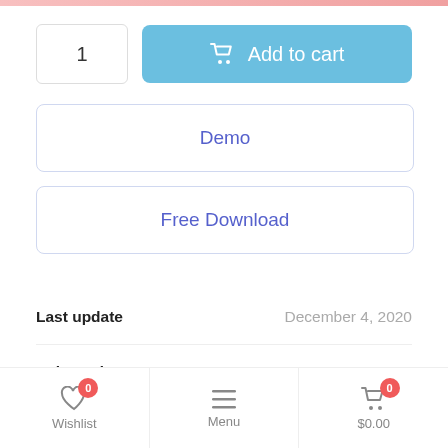1
Add to cart
Demo
Free Download
Last update — December 4, 2020
Released — August 22, 2017
Category — Web Elements
Wishlist 0 | Menu | $0.00 0